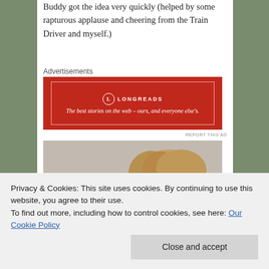Buddy got the idea very quickly (helped by some rapturous applause and cheering from the Train Driver and myself.)
Advertisements
[Figure (illustration): Longreads advertisement banner in red: 'The best stories on the web – ours, and everyone else's.']
[Figure (photo): Photo of the back of a young child's head with blonde hair, in an indoor setting.]
Privacy & Cookies: This site uses cookies. By continuing to use this website, you agree to their use.
To find out more, including how to control cookies, see here: Our Cookie Policy
Close and accept